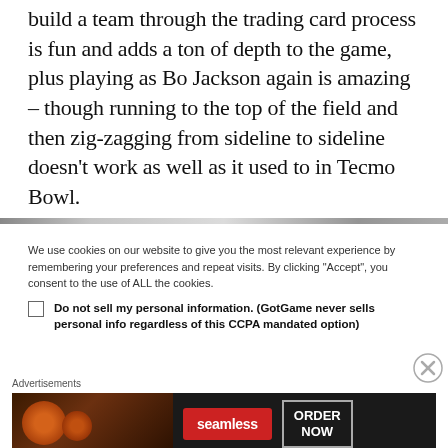build a team through the trading card process is fun and adds a ton of depth to the game, plus playing as Bo Jackson again is amazing – though running to the top of the field and then zig-zagging from sideline to sideline doesn't work as well as it used to in Tecmo Bowl.
We use cookies on our website to give you the most relevant experience by remembering your preferences and repeat visits. By clicking "Accept", you consent to the use of ALL the cookies.
Do not sell my personal information. (GotGame never sells personal info regardless of this CCPA mandated option)
[Figure (infographic): Seamless food ordering advertisement banner showing pizza images on left, red Seamless logo badge in center, and 'ORDER NOW' button on right against dark background]
Advertisements